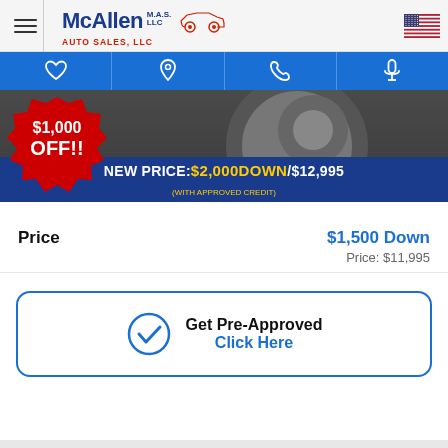McAllen Auto Sales, LLC — navigation header
[Figure (screenshot): Blue navigation icon bar with heart, location pin, phone, and microphone icons]
[Figure (photo): Promo image showing a vehicle tire/wheel on pavement with a $1,000 OFF!! starburst red sticker badge and a blue banner reading NEW PRICE: $2,000DOWN / $12,995 (WITH APPROVED CREDIT)]
Price   $1,500 Down   Price: $11,995
Get Pre-Approved Click Here